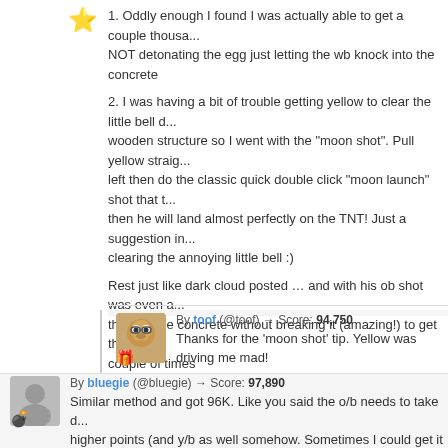1. Oddly enough I found I was actually able to get a couple thousa... NOT detonating the egg just letting the wb knock into the concrete
2. I was having a bit of trouble getting yellow to clear the little bell d... wooden structure so I went with the "moon shot". Pull yellow straig... left then do the classic quick double click "moon launch" shot that t... then he will land almost perfectly on the TNT! Just a suggestion in... clearing the annoying little bell :)
Rest just like dark cloud posted … and with his ob shot was even a... through the concrete without breaking it (amazing!) to get the pres... couple of times
Thanks again for the strategy!
By toof (@toof) → Score: 94,750
Thanks for the 'moon shot' tip. Yellow was driving me mad!
By bluegie (@bluegie) → Score: 97,890
Similar method and got 96K. Like you said the o/b needs to take d... higher points (and y/b as well somehow. Sometimes I could get it c...